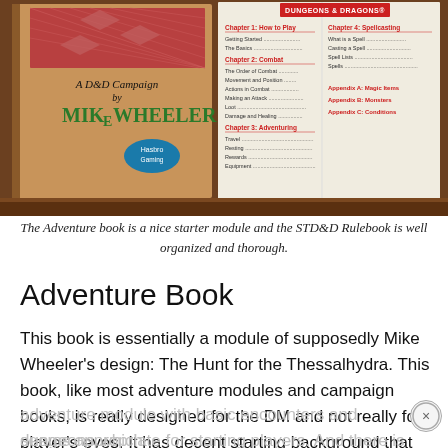[Figure (photo): Photo of two D&D books side by side on a wooden table. Left book is a D&D Campaign Adventure book by Mike Wheeler with Hasbro Gaming badge. Right book is open showing the Dungeons & Dragons rulebook table of contents with chapters on How to Play, Combat, and Adventuring.]
The Adventure book is a nice starter module and the STD&D Rulebook is well organized and thorough.
Adventure Book
This book is essentially a module of supposedly Mike Wheeler's design: The Hunt for the Thessalhydra. This book, like most adventure modules and campaign books, is really designed for the DM and not really for player's eyes. It has decent starting background that the DM can share with players. It also includes plot hooks for the PCs to choose and follow. Overall, it's a simple adventure module with basic encounters and dungeons which seems appropriate for starting players. And there is a Stranger